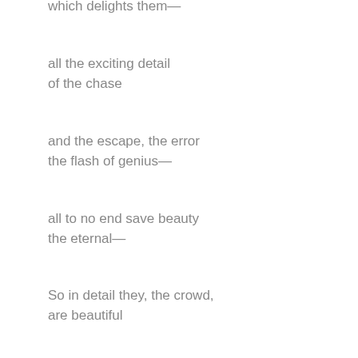which delights them—
all the exciting detail
of the chase
and the escape, the error
the flash of genius—
all to no end save beauty
the eternal—
So in detail they, the crowd,
are beautiful
for this
to be warned against
saluted and defied—
It is alive, venomous
it smiles grimly
its words cut—